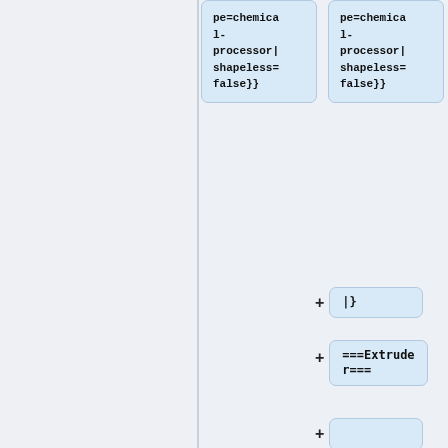[Figure (screenshot): Wiki diff view showing two columns of code boxes. Left column has truncated code box showing 'pe=chemical-processor|shapeless=false}}'. Right column has multiple diff entries: '|}', '===Extruder===', empty box, '{| class="wikitable sortable collapsible"', '|-', '! Outputs']
pe=chemical-processor|shapeless=false}}
pe=chemical-processor|shapeless=false}}
|}
===Extruder===
{| class="wikitable sortable collapsible"
|-
! Outputs